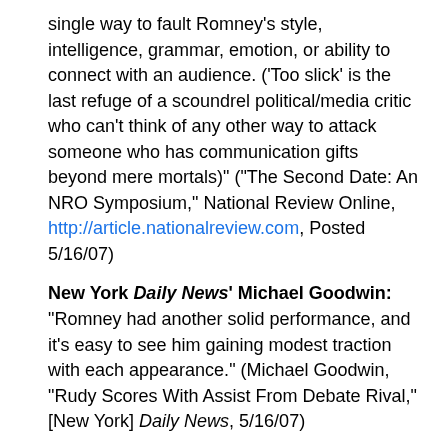single way to fault Romney's style, intelligence, grammar, emotion, or ability to connect with an audience. ('Too slick' is the last refuge of a scoundrel political/media critic who can't think of any other way to attack someone who has communication gifts beyond mere mortals)" ("The Second Date: An NRO Symposium," National Review Online, http://article.nationalreview.com, Posted 5/16/07)
New York Daily News' Michael Goodwin: "Romney had another solid performance, and it's easy to see him gaining modest traction with each appearance." (Michael Goodwin, "Rudy Scores With Assist From Debate Rival," [New York] Daily News, 5/16/07)
- Goodwin: "[Romney's] quick and smart and has made a good impression in both debates." (Michael Goodwin, "Rudy Scores With Assist From Debate Rival," [New York] Daily News, 5/16/07)
Sen. George Voinovich (R-OH): "...Mitt really understands the management side of the federal government and one of the things I think that is really strong in his favor is that he has had